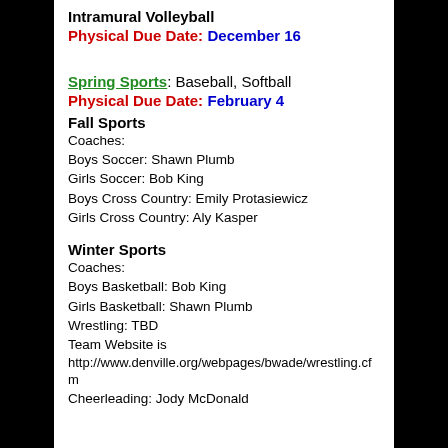Intramural Volleyball
Physical Due Date: December 16
Spring Sports: Baseball, Softball
Physical Due Date: February 4
Fall Sports
Coaches:
Boys Soccer: Shawn Plumb
Girls Soccer: Bob King
Boys Cross Country: Emily Protasiewicz
Girls Cross Country: Aly Kasper
Winter Sports
Coaches:
Boys Basketball: Bob King
Girls Basketball: Shawn Plumb
Wrestling: TBD
Team Website is http://www.denville.org/webpages/bwade/wrestling.cfm
Cheerleading: Jody McDonald